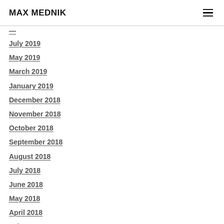MAX MEDNIK
July 2019
May 2019
March 2019
January 2019
December 2018
November 2018
October 2018
September 2018
August 2018
July 2018
June 2018
May 2018
April 2018
February 2018
January 2018
November 2017